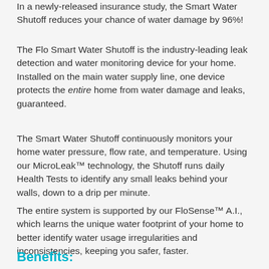In a newly-released insurance study, the Smart Water Shutoff reduces your chance of water damage by 96%!
The Flo Smart Water Shutoff is the industry-leading leak detection and water monitoring device for your home. Installed on the main water supply line, one device protects the entire home from water damage and leaks, guaranteed.
The Smart Water Shutoff continuously monitors your home water pressure, flow rate, and temperature. Using our MicroLeak™ technology, the Shutoff runs daily Health Tests to identify any small leaks behind your walls, down to a drip per minute.
The entire system is supported by our FloSense™ A.I., which learns the unique water footprint of your home to better identify water usage irregularities and inconsistencies, keeping you safer, faster.
Benefits: